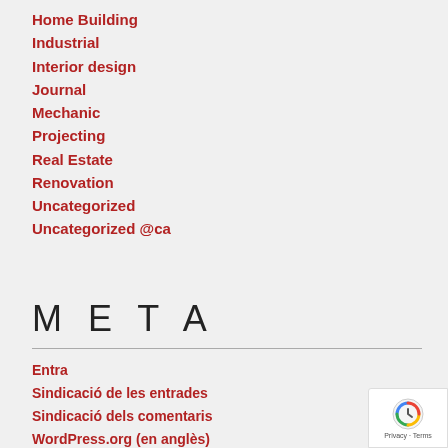Home Building
Industrial
Interior design
Journal
Mechanic
Projecting
Real Estate
Renovation
Uncategorized
Uncategorized @ca
META
Entra
Sindicació de les entrades
Sindicació dels comentaris
WordPress.org (en anglès)